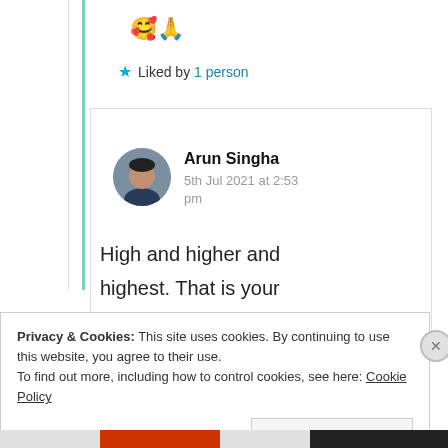🥰🙏
★ Liked by 1 person
Arun Singha
5th Jul 2021 at 2:53 pm
High and higher and highest. That is your
Privacy & Cookies: This site uses cookies. By continuing to use this website, you agree to their use.
To find out more, including how to control cookies, see here: Cookie Policy
Close and accept